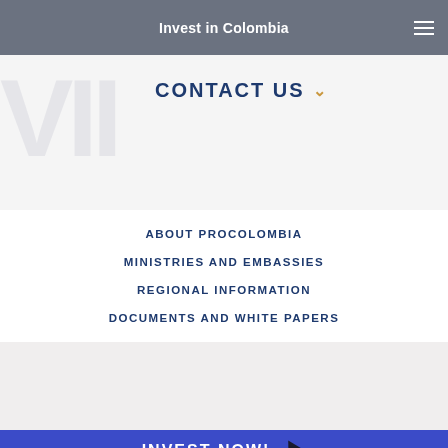Invest in Colombia
CONTACT US
ABOUT PROCOLOMBIA
MINISTRIES AND EMBASSIES
REGIONAL INFORMATION
DOCUMENTS AND WHITE PAPERS
INVEST NOW!